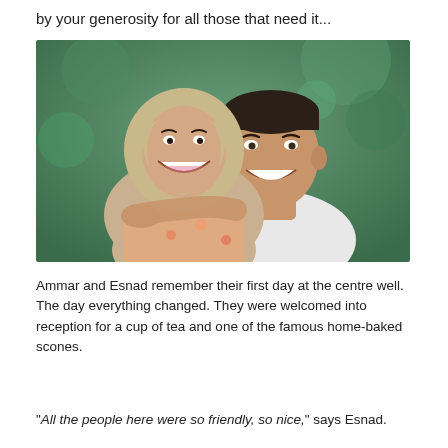by your generosity for all those that need it...
[Figure (photo): A smiling couple — a woman wearing a beige hijab with a floral scarf and a man in a white shirt — posed together outdoors with blurred greenery in the background.]
Ammar and Esnad remember their first day at the centre well. The day everything changed. They were welcomed into reception for a cup of tea and one of the famous home-baked scones.
"All the people here were so friendly, so nice," says Esnad.